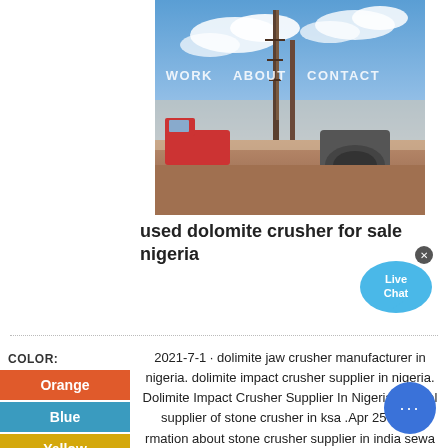[Figure (photo): Construction/drilling site with machinery, tall drilling rig against blue cloudy sky, sandy ground with equipment and workers in background]
SERVICES   WORK   ABOUT   CONTACT
used dolomite crusher for sale nigeria
[Figure (illustration): Live Chat bubble icon with blue speech bubble and 'Live Chat' text, with X close button]
COLOR:
Orange
Blue
Yellow
2021-7-1 · dolimite jaw crusher manufacturer in nigeria. dolimite impact crusher supplier in nigeria. Dolimite Impact Crusher Supplier In Nigeria. Rental supplier of stone crusher in ksa .Apr 25 2015 rmation about stone crusher supplier in india sewa rental stone.Uk stone crusher for ores process machine imbabwe used dolomite...